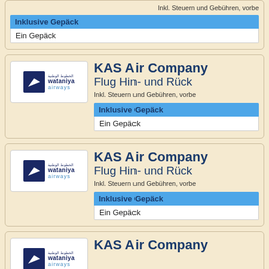Inkl. Steuern und Gebühren, vorbe...
Inklusive Gepäck
Ein Gepäck
[Figure (logo): Wataniya Airways logo]
KAS Air Company
Flug Hin- und Rück...
Inkl. Steuern und Gebühren, vorbe...
Inklusive Gepäck
Ein Gepäck
[Figure (logo): Wataniya Airways logo]
KAS Air Company
Flug Hin- und Rück...
Inkl. Steuern und Gebühren, vorbe...
Inklusive Gepäck
Ein Gepäck
[Figure (logo): Wataniya Airways logo]
KAS Air Company